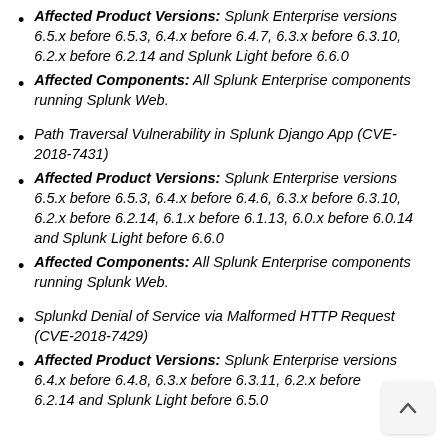Affected Product Versions: Splunk Enterprise versions 6.5.x before 6.5.3, 6.4.x before 6.4.7, 6.3.x before 6.3.10, 6.2.x before 6.2.14 and Splunk Light before 6.6.0
Affected Components: All Splunk Enterprise components running Splunk Web.
Path Traversal Vulnerability in Splunk Django App (CVE-2018-7431)
Affected Product Versions: Splunk Enterprise versions 6.5.x before 6.5.3, 6.4.x before 6.4.6, 6.3.x before 6.3.10, 6.2.x before 6.2.14, 6.1.x before 6.1.13, 6.0.x before 6.0.14 and Splunk Light before 6.6.0
Affected Components: All Splunk Enterprise components running Splunk Web.
Splunkd Denial of Service via Malformed HTTP Request (CVE-2018-7429)
Affected Product Versions: Splunk Enterprise versions 6.4.x before 6.4.8, 6.3.x before 6.3.11, 6.2.x before 6.2.14 and Splunk Light before 6.5.0